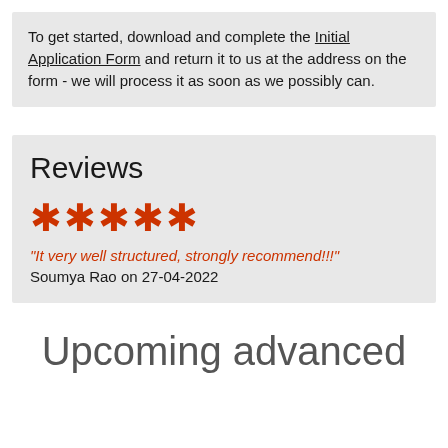To get started, download and complete the Initial Application Form and return it to us at the address on the form - we will process it as soon as we possibly can.
Reviews
★★★★★
"It very well structured, strongly recommend!!!"
Soumya Rao on 27-04-2022
Upcoming advanced